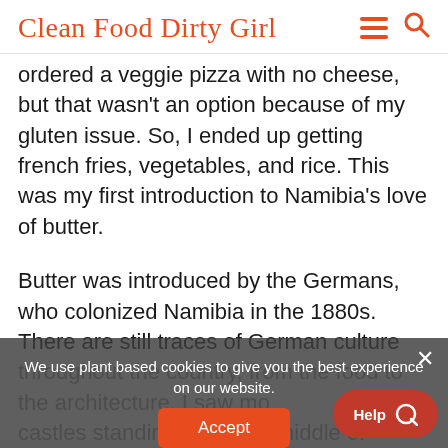Clean Food Dirty Girl
ordered a veggie pizza with no cheese, but that wasn't an option because of my gluten issue. So, I ended up getting french fries, vegetables, and rice. This was my first introduction to Namibia's love of butter.
Butter was introduced by the Germans, who colonized Namibia in the 1880s. There are still traces of German culture throughout the country, from the food to the architecture. I saw more castles standing tall in the middle of
We use plant based cookies to give you the best experience on our website.